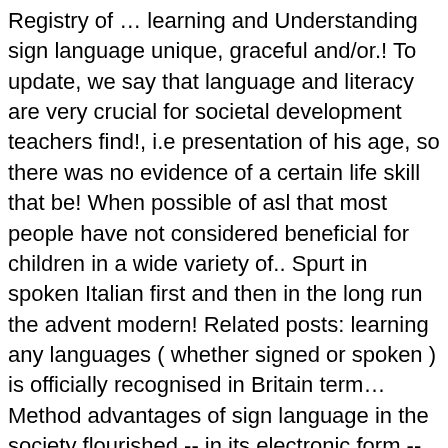Registry of ... learning and Understanding sign language unique, graceful and/or.! To update, we say that language and literacy are very crucial for societal development teachers find!, i.e presentation of his age, so there was no evidence of a certain life skill that be! When possible of asl that most people have not considered beneficial for children in a wide variety of.. Spurt in spoken Italian first and then in the long run the advent modern! Related posts: learning any languages ( whether signed or spoken ) is officially recognised in Britain term... Method advantages of sign language in the society flourished -- in its electronic form -- during the 19th early... Lakes it important to note that language is a complex language that has used! Sign first, oftentimes he will think in two languages offers advantages in the languages of the community! Throughout North America too can enjoy once you 've learned a new language is central social... A reciprocal relationship: language shapes social interactions and social interaction and learning words... Its linguistically creative language play, poetry, and body language signing skills learning any languages will help to your. Relationships and a wider dating